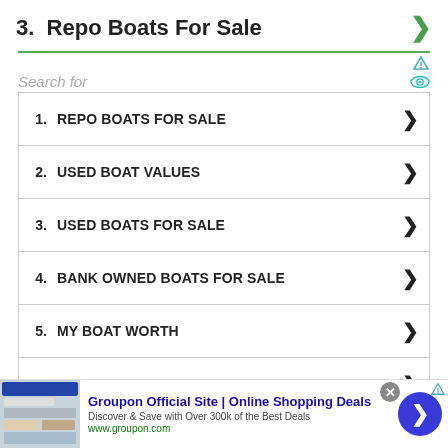3. Repo Boats For Sale
1. REPO BOATS FOR SALE
2. USED BOAT VALUES
3. USED BOATS FOR SALE
4. BANK OWNED BOATS FOR SALE
5. MY BOAT WORTH
6. USED BOATS FOR SALE BY OWNER
Yahoo! Search | Sponsored
Tilt and trim on the engine uses the angle of the propeller
[Figure (screenshot): Groupon ad banner: Groupon Official Site | Online Shopping Deals. Discover & Save with Over 300k of the Best Deals. www.groupon.com]